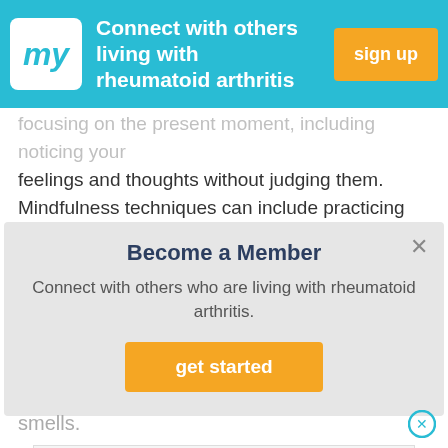Connect with others living with rheumatoid arthritis | sign up
focusing on the present moment, including noticing your feelings and thoughts without judging them. Mindfulness techniques can include practicing different types of breathing methods and engaging in guided imagery.
[Figure (screenshot): Modal popup: Become a Member - Connect with others who are living with rheumatoid arthritis. Get started button.]
smells.